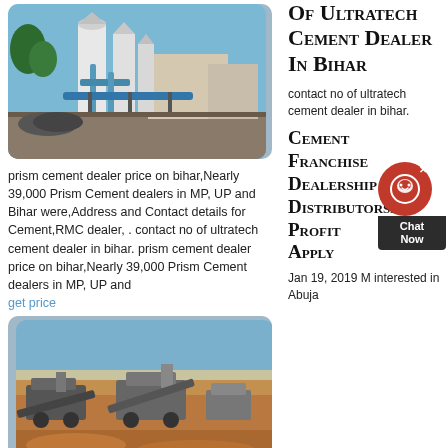[Figure (photo): Industrial cement plant with silos, pipes and machinery under blue sky]
Of Ultratech Cement Dealer In Bihar
contact no of ultratech cement dealer in bihar.
prism cement dealer price on bihar,Nearly 39,000 Prism Cement dealers in MP, UP and Bihar were,Address and Contact details for Cement,RMC dealer, . contact no of ultratech cement dealer in bihar. prism cement dealer price on bihar,Nearly 39,000 Prism Cement dealers in MP, UP and
get price
[Figure (photo): Outdoor mining or quarry site with heavy machinery and sandy terrain under blue sky]
Cement Franchise Dealership Distributorship Profit Apply
Jan 19, 2019 M interested in Abuja